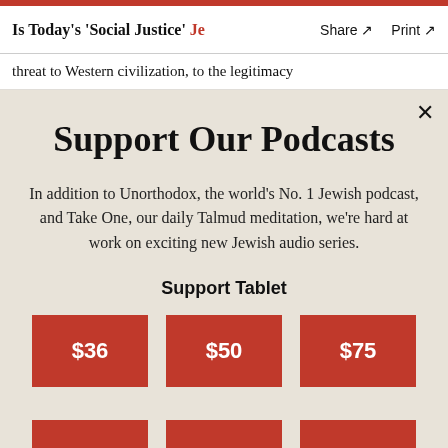Is Today's 'Social Justice' Je... Share ↗  Print ↗
threat to Western civilization, to the legitimacy
Support Our Podcasts
In addition to Unorthodox, the world's No. 1 Jewish podcast, and Take One, our daily Talmud meditation, we're hard at work on exciting new Jewish audio series.
Support Tablet
[Figure (other): Three red donation buttons showing $36, $50, and $75, and partial view of a second row of red buttons below]